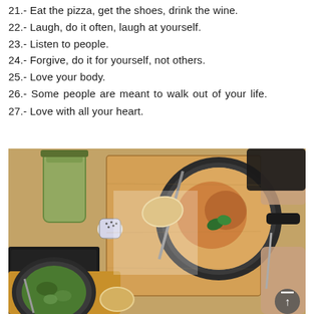21.- Eat the pizza, get the shoes, drink the wine.
22.- Laugh, do it often, laugh at yourself.
23.- Listen to people.
24.- Forgive, do it for yourself, not others.
25.- Love your body.
26.- Some people are meant to walk out of your life.
27.- Love with all your heart.
[Figure (photo): Overhead view of a restaurant table with a cast iron skillet containing baked food (appears to be a pizza or egg dish) with basil on top, a green drink in a mason jar, a salt shaker, bread, and other dishes on wooden boards. A person's hand is visible holding a knife.]